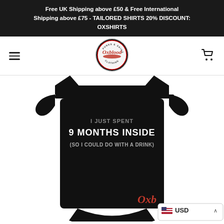Free UK Shipping above £50 & Free International Shipping above £75 - TAILORED SHIRTS 20% DISCOUNT: OXSHIRTS
[Figure (logo): Oxblood Clothing logo - circular badge with 'Punks & Skins' text, 'Oxblood' script in red, 'Clothing' text at bottom]
[Figure (photo): Black baby onesie with text 'I JUST SPENT 9 MONTHS INSIDE (SO I COULD DO WITH A DRINK)' printed on front, with Oxblood logo at bottom]